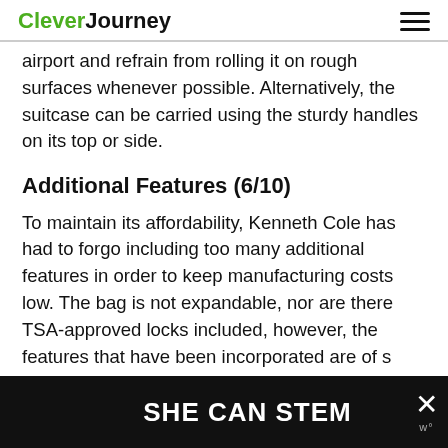CleverJourney
airport and refrain from rolling it on rough surfaces whenever possible. Alternatively, the suitcase can be carried using the sturdy handles on its top or side.
Additional Features (6/10)
To maintain its affordability, Kenneth Cole has had to forgo including too many additional features in order to keep manufacturing costs low. The bag is not expandable, nor are there TSA-approved locks included, however, the features that have been incorporated are of s...
[Figure (infographic): Dark advertisement banner reading 'SHE CAN STEM' with a close button (X) and a small logo on the right side.]